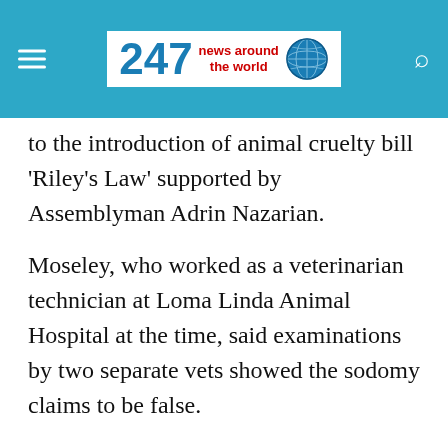[Figure (logo): 247 News Around the World logo with globe icon on a teal header bar]
to the introduction of animal cruelty bill 'Riley's Law' supported by Assemblyman Adrin Nazarian.
Moseley, who worked as a veterinarian technician at Loma Linda Animal Hospital at the time, said examinations by two separate vets showed the sodomy claims to be false.
One of the vets, Natalia Soto, from Studio City, told the Times she had examined Riley and told the charity the sodomy claims were incorrect but it continued to push the story on